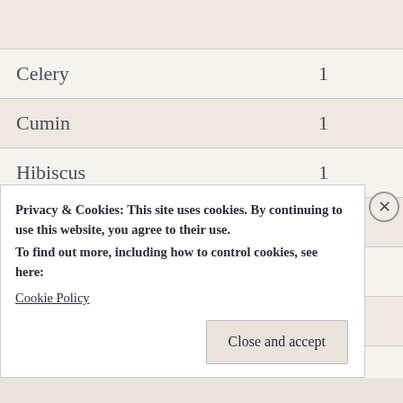| Ingredient | Count |
| --- | --- |
| Celery | 1 |
| Cumin | 1 |
| Hibiscus | 1 |
| Liquid smoke | 1 |
| Mint | 1 |
| Nutmeg | 1 |
| Oregano | 1 |
Privacy & Cookies: This site uses cookies. By continuing to use this website, you agree to their use.
To find out more, including how to control cookies, see here:
Cookie Policy
Close and accept